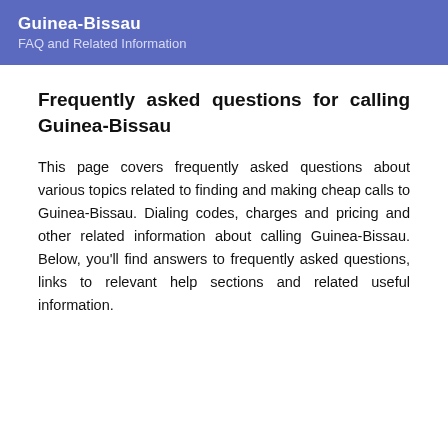Guinea-Bissau
FAQ and Related Information
Frequently asked questions for calling Guinea-Bissau
This page covers frequently asked questions about various topics related to finding and making cheap calls to Guinea-Bissau. Dialing codes, charges and pricing and other related information about calling Guinea-Bissau. Below, you'll find answers to frequently asked questions, links to relevant help sections and related useful information.